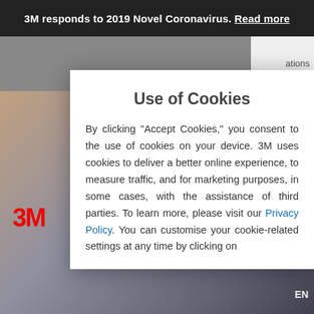3M responds to 2019 Novel Coronavirus. Read more
Use of Cookies
By clicking "Accept Cookies," you consent to the use of cookies on your device. 3M uses cookies to deliver a better online experience, to measure traffic, and for marketing purposes, in some cases, with the assistance of third parties. To learn more, please visit our Privacy Policy. You can customise your cookie-related settings at any time by clicking on